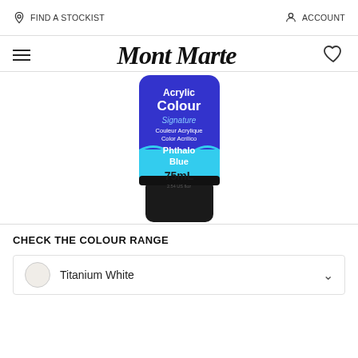FIND A STOCKIST   ACCOUNT
[Figure (logo): Mont Marte logo in italic script]
[Figure (photo): Mont Marte Acrylic Colour Signature tube, Phthalo Blue, 75mL, with blue and cyan body and black cap]
CHECK THE COLOUR RANGE
Titanium White